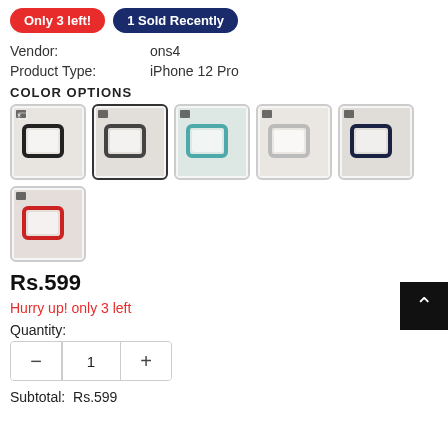Only 3 left! | 1 Sold Recently
Vendor: ons4
Product Type: iPhone 12 Pro
COLOR OPTIONS
[Figure (photo): Six color option thumbnails for iPhone 12 Pro case: black, dark gray (selected), teal/mint, clear/white, dark navy, red]
Rs.599
Hurry up! only 3 left
Quantity:
1
Subtotal: Rs.599